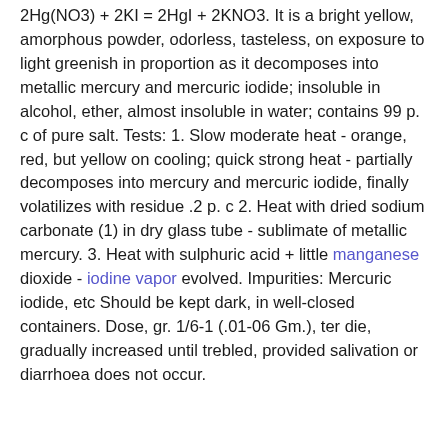2Hg(NO3) + 2KI = 2HgI + 2KNO3. It is a bright yellow, amorphous powder, odorless, tasteless, on exposure to light greenish in proportion as it decomposes into metallic mercury and mercuric iodide; insoluble in alcohol, ether, almost insoluble in water; contains 99 p. c of pure salt. Tests: 1. Slow moderate heat - orange, red, but yellow on cooling; quick strong heat - partially decomposes into mercury and mercuric iodide, finally volatilizes with residue .2 p. c 2. Heat with dried sodium carbonate (1) in dry glass tube - sublimate of metallic mercury. 3. Heat with sulphuric acid + little manganese dioxide - iodine vapor evolved. Impurities: Mercuric iodide, etc Should be kept dark, in well-closed containers. Dose, gr. 1/6-1 (.01-06 Gm.), ter die, gradually increased until trebled, provided salivation or diarrhoea does not occur.